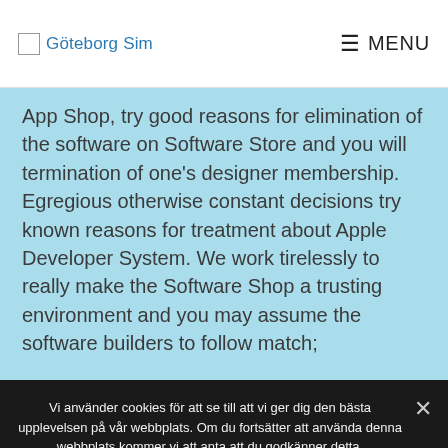Göteborg Sim  MENU
App Shop, try good reasons for elimination of the software on Software Store and you will termination of one's designer membership. Egregious otherwise constant decisions try known reasons for treatment about Apple Developer System. We work tirelessly to really make the Software Shop a trusting environment and you may assume the software builders to follow match;
Vi använder cookies för att se till att vi ger dig den bästa upplevelsen på vår webbplats. Om du fortsätter att använda denna webbplats kommer vi att anta att du godkänner detta.